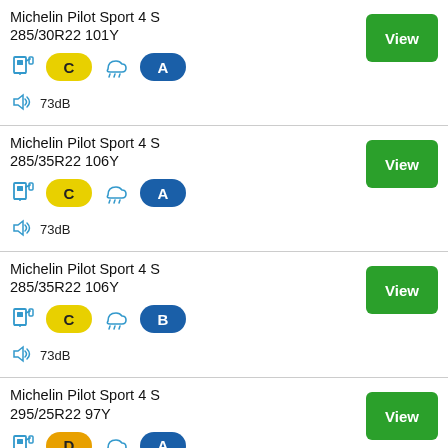Michelin Pilot Sport 4 S 285/30R22 101Y, Fuel: C, Wet: rain, Grip: A, Noise: 73dB
Michelin Pilot Sport 4 S 285/35R22 106Y, Fuel: C, Wet: rain, Grip: A, Noise: 73dB
Michelin Pilot Sport 4 S 285/35R22 106Y, Fuel: C, Wet: rain, Grip: B, Noise: 73dB
Michelin Pilot Sport 4 S 295/25R22 97Y, Fuel: D, Wet: rain, Grip: A, Noise: 73dB